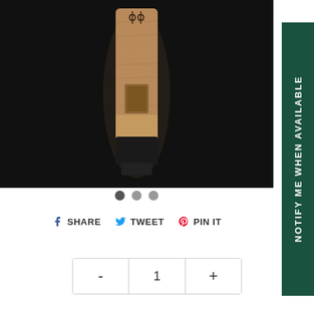[Figure (photo): Product photo of a wooden USB drive with a slot/notch, standing upright against a dark black background. The wood has a natural oak grain texture with a dark base.]
[Figure (other): Three dot carousel indicators: first dot is dark/active, second and third are light gray.]
SHARE   TWEET   PIN IT
- 1 +
NOTIFY ME WHEN AVAILABLE